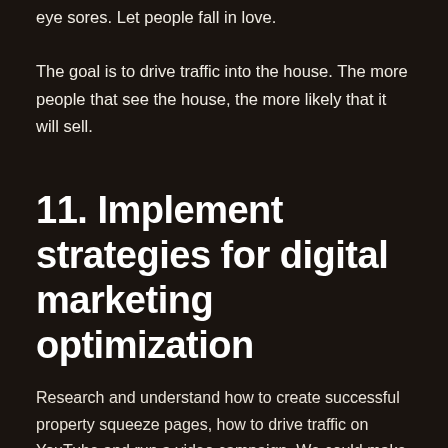eye sores. Let people fall in love.

The goal is to drive traffic into the house. The more people that see the house, the more likely that it will sell.
11. Implement strategies for digital marketing optimization
Research and understand how to create successful property squeeze pages, how to drive traffic on YouTube and run a video campaign. We could make an entire post just on this.